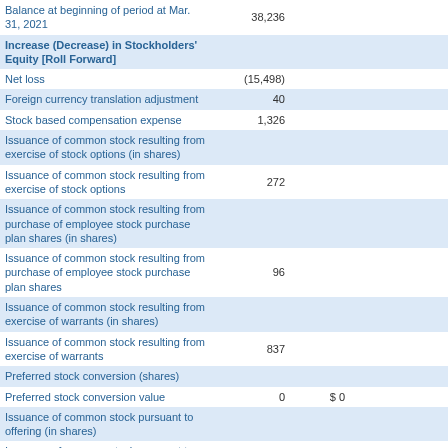|  | Col1 | Col2 | Col3 | Col4 |
| --- | --- | --- | --- | --- |
| Balance at beginning of period at Mar. 31, 2021 | 38,236 |  |  |  |
| Increase (Decrease) in Stockholders' Equity [Roll Forward] |  |  |  |  |
| Net loss | (15,498) |  |  |  |
| Foreign currency translation adjustment | 40 |  |  |  |
| Stock based compensation expense | 1,326 |  |  |  |
| Issuance of common stock resulting from exercise of stock options (in shares) |  |  |  |  |
| Issuance of common stock resulting from exercise of stock options | 272 |  |  |  |
| Issuance of common stock resulting from purchase of employee stock purchase plan shares (in shares) |  |  |  |  |
| Issuance of common stock resulting from purchase of employee stock purchase plan shares | 96 |  |  |  |
| Issuance of common stock resulting from exercise of warrants (in shares) |  |  |  |  |
| Issuance of common stock resulting from exercise of warrants | 837 |  |  |  |
| Preferred stock conversion (shares) |  |  |  |  |
| Preferred stock conversion value | 0 | $ 0 |  |  |
| Issuance of common stock pursuant to offering (in shares) |  |  |  |  |
| Issuance of common stock pursuant to offering value |  |  |  | $ 12,172 |
| Balance at end of period (shares) at Jun. 30, 2021 |  |  |  |  |
| Balance at end of period at Jun. 30, 2021 | $ 46,721 |  |  |  |